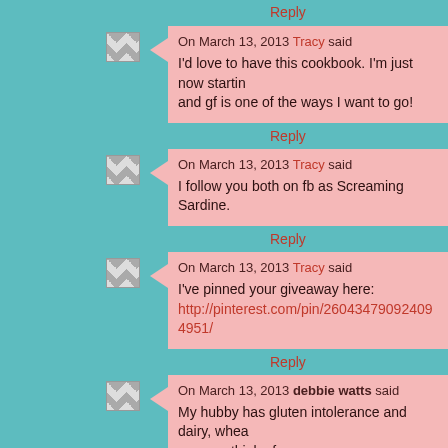Reply
On March 13, 2013 Tracy said
I'd love to have this cookbook. I'm just now starting and gf is one of the ways I want to go!
Reply
On March 13, 2013 Tracy said
I follow you both on fb as Screaming Sardine.
Reply
On March 13, 2013 Tracy said
I've pinned your giveaway here: http://pinterest.com/pin/260434790924094951/
Reply
On March 13, 2013 debbie watts said
My hubby has gluten intolerance and dairy, whea you can think of.
Reply